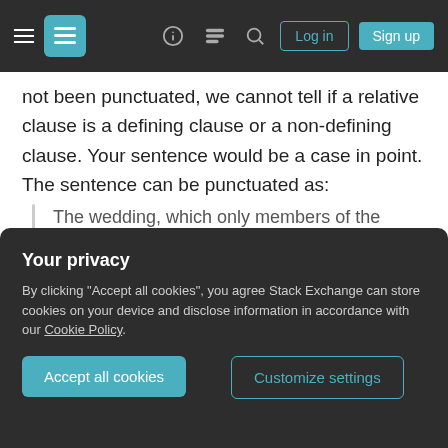Stack Exchange navigation bar with Log in and Sign up buttons
not been punctuated, we cannot tell if a relative clause is a defining clause or a non-defining clause. Your sentence would be a case in point. The sentence can be punctuated as:
The wedding, which only members of the family were invited to, took place on Friday.
This sentence tells us, (1)the wedding was held on Friday and (2)it just so happens that only family
Your privacy
By clicking "Accept all cookies", you agree Stack Exchange can store cookies on your device and disclose information in accordance with our Cookie Policy.
The wedding which/that only members of